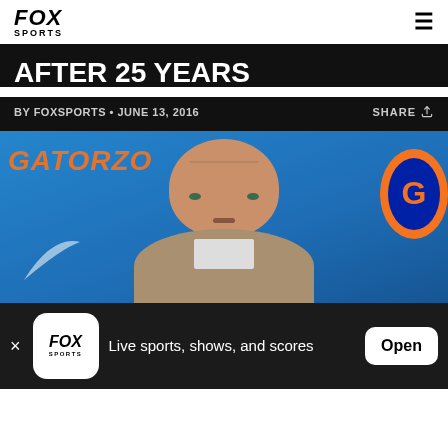FOX SPORTS
AFTER 25 YEARS
BY FOXSPORTS · JUNE 13, 2016    SHARE
[Figure (photo): Man speaking at a Florida Gators press conference, blue background with GATORZONE text in orange and Gator logo visible]
Live sports, shows, and scores  Open